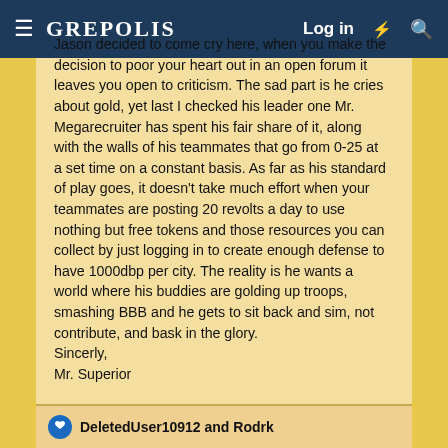≡  GREPOLIS    Log in  ⚡  🔍
Jason decided to come cry here, when you make the decision to poor your heart out in an open forum it leaves you open to criticism. The sad part is he cries about gold, yet last I checked his leader one Mr. Megarecruiter has spent his fair share of it, along with the walls of his teammates that go from 0-25 at a set time on a constant basis. As far as his standard of play goes, it doesn't take much effort when your teammates are posting 20 revolts a day to use nothing but free tokens and those resources you can collect by just logging in to create enough defense to have 1000dbp per city. The reality is he wants a world where his buddies are golding up troops, smashing BBB and he gets to sit back and sim, not contribute, and bask in the glory.
Sincerly,
Mr. Superior
DeletedUser10912 and Rodrk